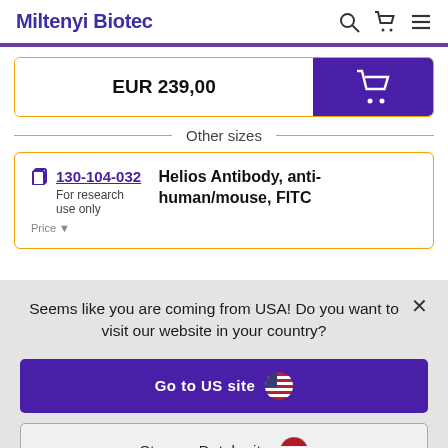Miltenyi Biotec
EUR 239,00
Other sizes
130-104-032
For research use only
Helios Antibody, anti-human/mouse, FITC
Seems like you are coming from USA! Do you want to visit our website in your country?
Go to US site
Stay on Dutch site